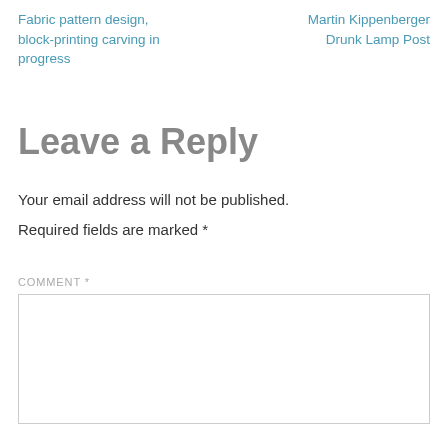Fabric pattern design, block-printing carving in progress
Martin Kippenberger Drunk Lamp Post
Leave a Reply
Your email address will not be published. Required fields are marked *
COMMENT *